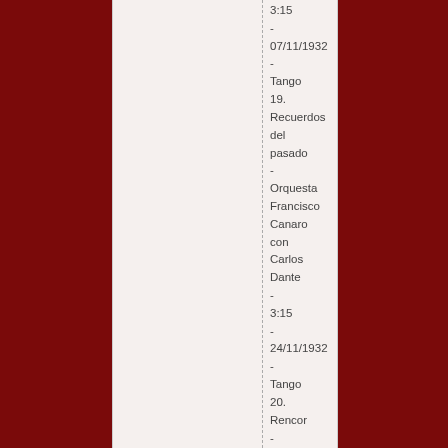3:15 - 07/11/1932 - Tango 19. Recuerdos del pasado - Orquesta Francisco Canaro con Carlos Dante - 3:15 - 24/11/1932 - Tango 20. Rencor - Orquesta Francisco Canaro con Domingo Conte - 2:34 - 12/12/1932 - Tango